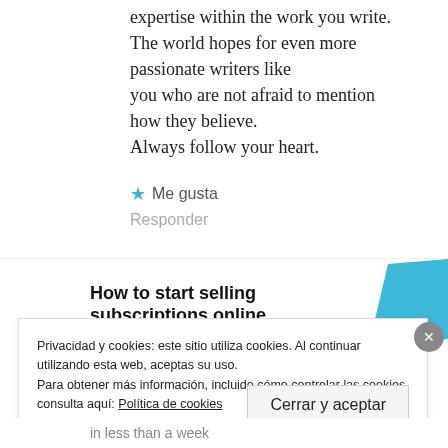expertise within the work you write. The world hopes for even more passionate writers like you who are not afraid to mention how they believe. Always follow your heart.
★ Me gusta
Responder
[Figure (screenshot): Advertisement banner: 'How to start selling subscriptions online' with a cyan/blue geometric shape on the right]
Privacidad y cookies: este sitio utiliza cookies. Al continuar utilizando esta web, aceptas su uso. Para obtener más información, incluido cómo controlar las cookies, consulta aquí: Política de cookies
Cerrar y aceptar
in less than a week